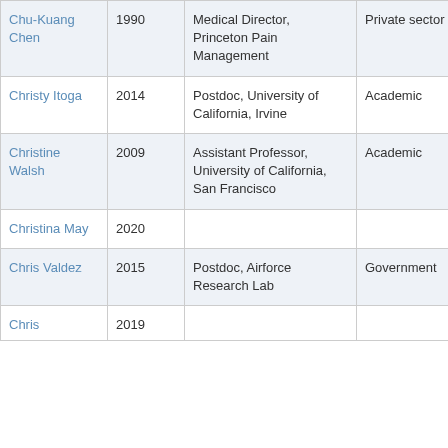| Chu-Kuang Chen | 1990 | Medical Director, Princeton Pain Management | Private sector | New Jersey |
| Christy Itoga | 2014 | Postdoc, University of California, Irvine | Academic | California |
| Christine Walsh | 2009 | Assistant Professor, University of California, San Francisco | Academic | California |
| Christina May | 2020 |  |  |  |
| Chris Valdez | 2015 | Postdoc, Airforce Research Lab | Government | Texas |
| Chris | 2019 |  |  |  |